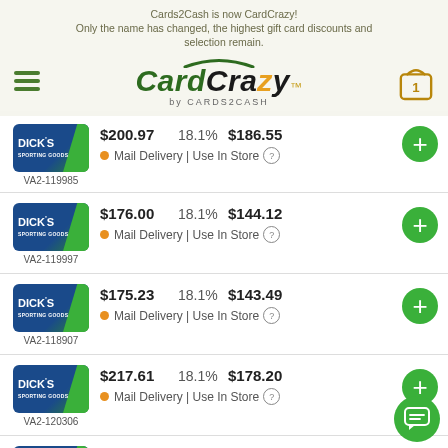CardCrazy by CARDS2CASH
Cards2Cash is now CardCrazy! Only the name has changed, the highest gift card discounts and selection remain.
| Card | ID | Face Value | Discount | You Pay | Action |
| --- | --- | --- | --- | --- | --- |
| Dick's Sporting Goods | VA2-119985 | $200.97 | 18.1% | $186.55 | Mail Delivery | Use In Store |
| Dick's Sporting Goods | VA2-119997 | $176.00 | 18.1% | $144.12 | Mail Delivery | Use In Store |
| Dick's Sporting Goods | VA2-118907 | $175.23 | 18.1% | $143.49 | Mail Delivery | Use In Store |
| Dick's Sporting Goods | VA2-120306 | $217.61 | 18.1% | $178.20 | Mail Delivery | Use In Store |
| Dick's Sporting Goods |  | $143.80 | 18.1% | $117.76 |  |